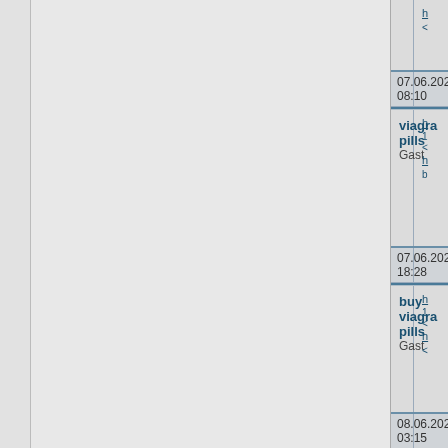| Post | Links |
| --- | --- |
| (partial post) | h... < |
| 07.06.2021 08:10 |  |
| viagra pills
Gast | h... 1 < h... b |
| 07.06.2021 18:28 |  |
| buy viagra pills
Gast | h... 1 < h... < |
| 08.06.2021 03:15 |  |
| reputable online pharmacy
Gast | h... 1 < h... < |
| 08.06.2021 04:55 |  |
| viagra cost
Gast | h... 1 < h... < |
| 08.06.2021 10:18 |  |
| (partial post) |  |